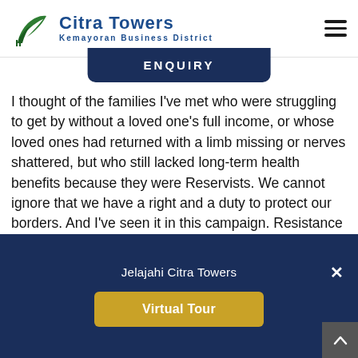[Figure (logo): Citra Towers Kemayoran Business District logo with green leaf/building icon and navy blue text]
ENQUIRY
I thought of the families I've met who were struggling to get by without a loved one's full income, or whose loved ones had returned with a limb missing or nerves shattered, but who still lacked long-term health benefits because they were Reservists. We cannot ignore that we have a right and a duty to protect our borders. And I've seen it in this campaign. Resistance through violence and killing is wrong and does not succeed. No single nation should pick and choose which nations hold nuclear weapons.

I didn't fall out in church, as folks sometimes do. Religious
Jelajahi Citra Towers
Virtual Tour